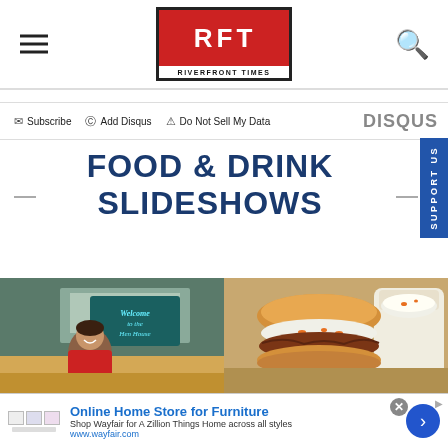RFT RIVERFRONT TIMES
Subscribe  Add Disqus  Do Not Sell My Data  DISQUS
FOOD & DRINK SLIDESHOWS
[Figure (photo): Interior of restaurant kitchen with neon sign reading Welcome to the Hen House and a smiling woman in foreground]
[Figure (photo): Close-up of a pulled pork burger with coleslaw topping and a side cup of coleslaw]
Online Home Store for Furniture
Shop Wayfair for A Zillion Things Home across all styles
www.wayfair.com